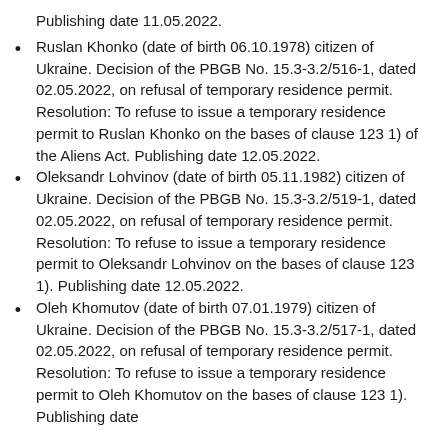Publishing date 11.05.2022.
Ruslan Khonko (date of birth 06.10.1978) citizen of Ukraine. Decision of the PBGB No. 15.3-3.2/516-1, dated 02.05.2022, on refusal of temporary residence permit. Resolution: To refuse to issue a temporary residence permit to Ruslan Khonko on the bases of clause 123 1) of the Aliens Act. Publishing date 12.05.2022.
Oleksandr Lohvinov (date of birth 05.11.1982) citizen of Ukraine. Decision of the PBGB No. 15.3-3.2/519-1, dated 02.05.2022, on refusal of temporary residence permit. Resolution: To refuse to issue a temporary residence permit to Oleksandr Lohvinov on the bases of clause 123 1). Publishing date 12.05.2022.
Oleh Khomutov (date of birth 07.01.1979) citizen of Ukraine. Decision of the PBGB No. 15.3-3.2/517-1, dated 02.05.2022, on refusal of temporary residence permit. Resolution: To refuse to issue a temporary residence permit to Oleh Khomutov on the bases of clause 123 1). Publishing date